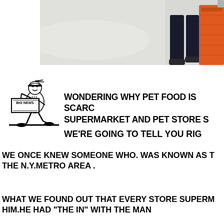[Figure (photo): Photo of a person's legs and feet in sandals standing in a supermarket aisle, with an orange/red shopping basket visible on the right side. The floor is a light speckled linoleum.]
[Figure (illustration): Vintage black and white illustration of a newsboy running and holding a newspaper sign that says BIG NEWS]
WONDERING WHY PET FOOD IS SCARC SUPERMARKET AND PET STORE S
WE'RE GOING TO TELL YOU RIG
WE ONCE KNEW SOMEONE WHO. WAS KNOWN AS T THE N.Y.METRO AREA .
WHAT WE FOUND OUT THAT EVERY STORE SUPERM HIM.HE HAD "THE IN" WITH THE MAN